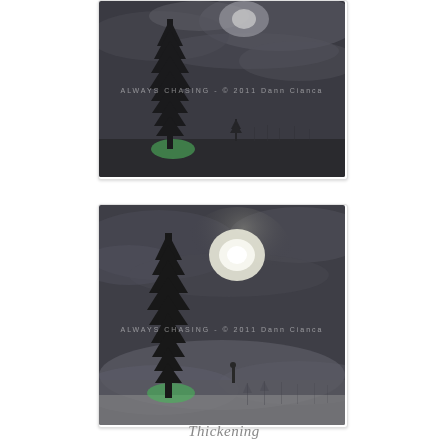[Figure (photo): Night photograph of a tall conifer tree silhouetted against a dark, cloudy sky with a moon partially visible through clouds. Green light visible near the base of the tree. A smaller tree silhouette visible in the distance. Watermark reads: ALWAYS CHASING - © 2011 Dann Cianca]
[Figure (photo): Night photograph of the same tall conifer tree silhouetted against a dark cloudy sky with a bright, glowing full moon visible through thin clouds. Foggy/misty conditions, green light near base of tree. A smaller figure silhouette in mid-ground. Reflected tree silhouettes visible in misty foreground. Watermark reads: ALWAYS CHASING - © 2011 Dann Cianca]
Thickening